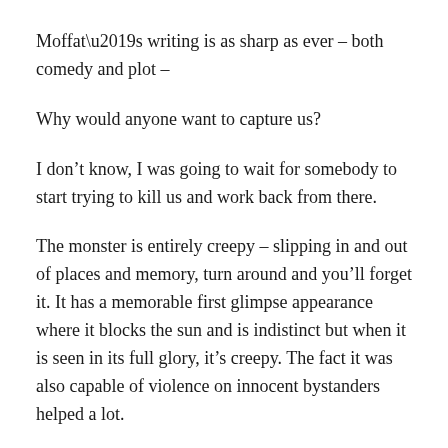Moffat’s writing is as sharp as ever – both comedy and plot –
Why would anyone want to capture us?
I don’t know, I was going to wait for somebody to start trying to kill us and work back from there.
The monster is entirely creepy – slipping in and out of places and memory, turn around and you’ll forget it. It has a memorable first glimpse appearance where it blocks the sun and is indistinct but when it is seen in its full glory, it’s creepy. The fact it was also capable of violence on innocent bystanders helped a lot.